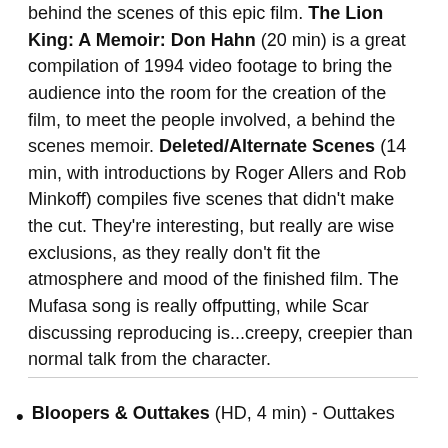behind the scenes of this epic film. The Lion King: A Memoir: Don Hahn (20 min) is a great compilation of 1994 video footage to bring the audience into the room for the creation of the film, to meet the people involved, a behind the scenes memoir. Deleted/Alternate Scenes (14 min, with introductions by Roger Allers and Rob Minkoff) compiles five scenes that didn't make the cut. They're interesting, but really are wise exclusions, as they really don't fit the atmosphere and mood of the finished film. The Mufasa song is really offputting, while Scar discussing reproducing is...creepy, creepier than normal talk from the character.
Bloopers & Outtakes (HD, 4 min) - Outtakes